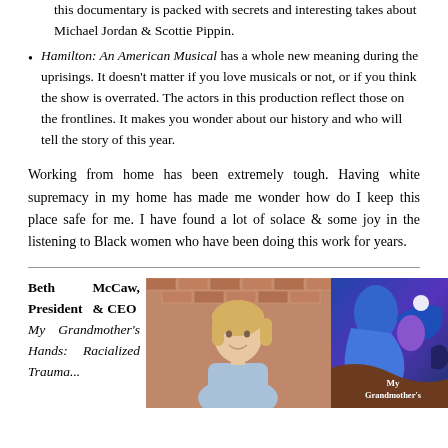this documentary is packed with secrets and interesting takes about Michael Jordan & Scottie Pippin.
Hamilton: An American Musical has a whole new meaning during the uprisings. It doesn't matter if you love musicals or not, or if you think the show is overrated. The actors in this production reflect those on the frontlines. It makes you wonder about our history and who will tell the story of this year.
Working from home has been extremely tough. Having white supremacy in my home has made me wonder how do I keep this place safe for me. I have found a lot of solace & some joy in the listening to Black women who have been doing this work for years.
Beth McCaw, President & CEO
My Grandmother's Hands: Racialized Trauma...
[Figure (photo): Photo of Beth McCaw, a blonde woman smiling, in front of a brick wall]
[Figure (illustration): Book cover of 'My Grandmother's Hands' showing abstract art of figures in blue, purple and brown tones with text 'My Grandmother's' visible]